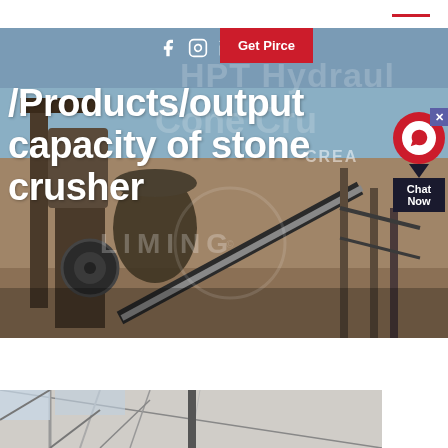[Figure (photo): Industrial stone crusher / mining plant machinery with conveyor belts and heavy equipment against a blue sky background]
/Products/output capacity of stone crusher
Get Pirce
[Figure (photo): Interior of an industrial warehouse or facility showing steel roof trusses and structural elements]